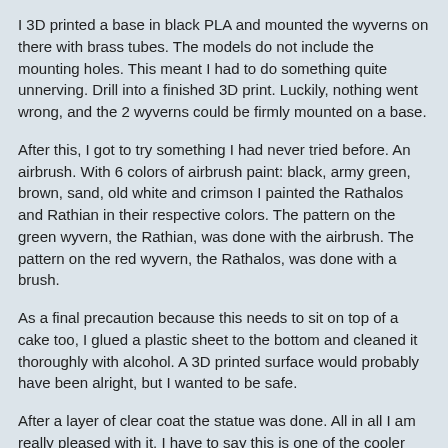I 3D printed a base in black PLA and mounted the wyverns on there with brass tubes. The models do not include the mounting holes. This meant I had to do something quite unnerving. Drill into a finished 3D print. Luckily, nothing went wrong, and the 2 wyverns could be firmly mounted on a base.
After this, I got to try something I had never tried before. An airbrush. With 6 colors of airbrush paint: black, army green, brown, sand, old white and crimson I painted the Rathalos and Rathian in their respective colors. The pattern on the green wyvern, the Rathian, was done with the airbrush. The pattern on the red wyvern, the Rathalos, was done with a brush.
As a final precaution because this needs to sit on top of a cake too, I glued a plastic sheet to the bottom and cleaned it thoroughly with alcohol. A 3D printed surface would probably have been alright, but I wanted to be safe.
After a layer of clear coat the statue was done. All in all I am really pleased with it. I have to say this is one of the cooler things I have built so far. There are not that many photo's available, because I never intended this to be a full Ytec project, but I have been given permission to release the files, so I will in a while. Be aware that this is not a 3D printer optimized design. It is a repaired mesh that can be printed, but only on printers that are amazing with support material.